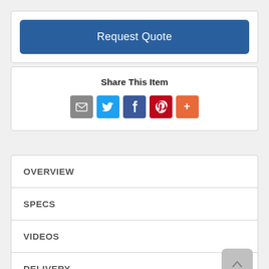Request Quote
Share This Item
[Figure (other): Social share icons: Email (grey), Twitter (blue), Facebook (dark blue), Pinterest (red), More (orange)]
OVERVIEW
SPECS
VIDEOS
DELIVERY